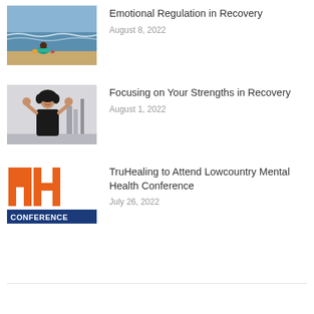[Figure (photo): Person sitting on a beach facing the ocean, wearing a teal top, with waves in the background.]
Emotional Regulation in Recovery
August 8, 2022
[Figure (photo): Young woman with curly hair smiling with hands behind her head, wearing a black top, indoor gym setting.]
Focusing on Your Strengths in Recovery
August 1, 2022
[Figure (logo): Mental Health conference logo: large orange block letters MH with a horizontal bar, and blue banner reading CONFERENCE below.]
TruHealing to Attend Lowcountry Mental Health Conference
July 26, 2022